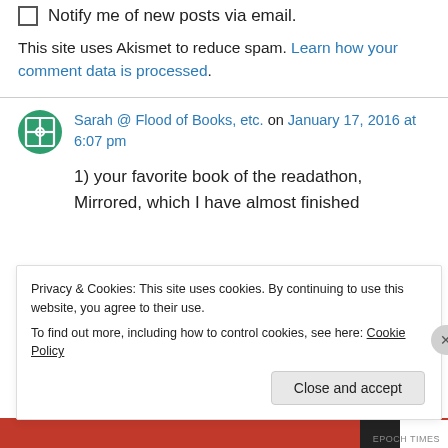Notify me of new posts via email.
This site uses Akismet to reduce spam. Learn how your comment data is processed.
Sarah @ Flood of Books, etc. on January 17, 2016 at 6:07 pm
1) your favorite book of the readathon, Mirrored, which I have almost finished
Privacy & Cookies: This site uses cookies. By continuing to use this website, you agree to their use.
To find out more, including how to control cookies, see here: Cookie Policy
Close and accept